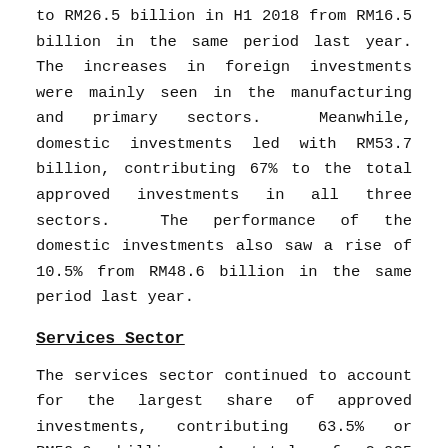to RM26.5 billion in H1 2018 from RM16.5 billion in the same period last year. The increases in foreign investments were mainly seen in the manufacturing and primary sectors. Meanwhile, domestic investments led with RM53.7 billion, contributing 67% to the total approved investments in all three sectors. The performance of the domestic investments also saw a rise of 10.5% from RM48.6 billion in the same period last year.
Services Sector
The services sector continued to account for the largest share of approved investments, contributing 63.5% or RM50.9 billion. A total of 2,025 projects were approved and will create more than 33,97 job opportunities, the largest potential employer in the economy. Around 89% of these jobs will be in the